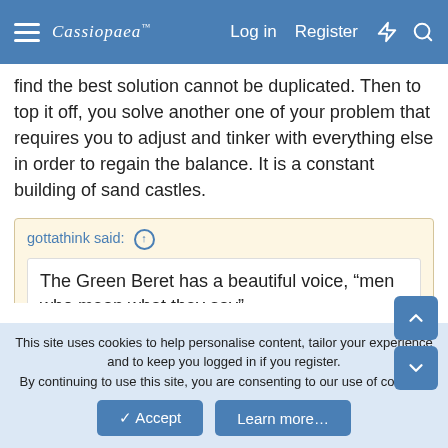Cassiopeia [logo] Log in  Register
find the best solution cannot be duplicated. Then to top it off, you solve another one of your problem that requires you to adjust and tinker with everything else in order to regain the balance. It is a constant building of sand castles.
gottathink said: ↑
The Green Beret has a beautiful voice, “men who mean what they say”.
The back story of this Sargent is amazing. He was a real man who lived a life of mental toughness.
This site uses cookies to help personalise content, tailor your experience and to keep you logged in if you register.
By continuing to use this site, you are consenting to our use of cookies.